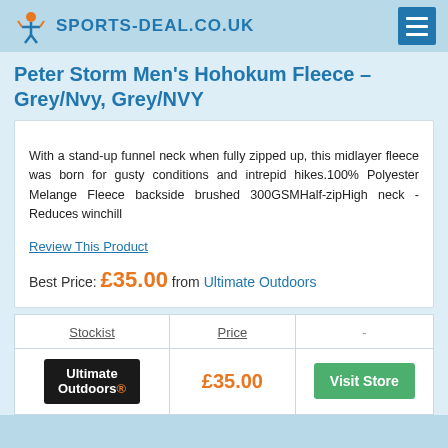SPORTS-DEAL.CO.UK
Peter Storm Men's Hohokum Fleece – Grey/Nvy, Grey/NVY
With a stand-up funnel neck when fully zipped up, this midlayer fleece was born for gusty conditions and intrepid hikes.100% Polyester Melange Fleece backside brushed 300GSMHalf-zipHigh neck - Reduces winchill
Review This Product
Best Price: £35.00 from Ultimate Outdoors
| Stockist | Price | - |
| --- | --- | --- |
| Ultimate Outdoors | £35.00 | Visit Store |